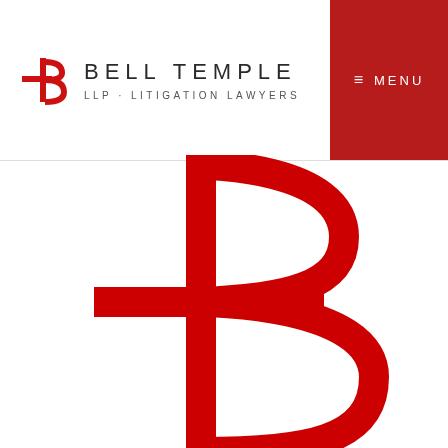[Figure (logo): Bell Temple LLP Litigation Lawyers logo in the page header — small red cross-B mark with firm name text]
≡ MENU
[Figure (logo): Large Bell Temple red cross-B logo mark centered on white background, filling bottom three quarters of the page]